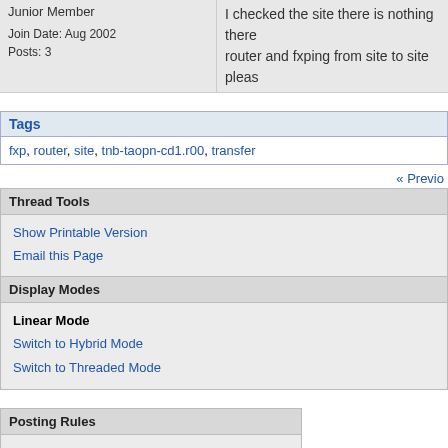Junior Member
Join Date: Aug 2002
Posts: 3
I checked the site there is nothing there. router and fxping from site to site please
Tags
fxp, router, site, tnb-taopn-cd1.r00, transfer
« Previo
Thread Tools
Show Printable Version
Email this Page
Display Modes
Linear Mode
Switch to Hybrid Mode
Switch to Threaded Mode
Posting Rules
You may not post new threads
You may not post replies
You may not post attachments
You may not edit your posts
BB code is On